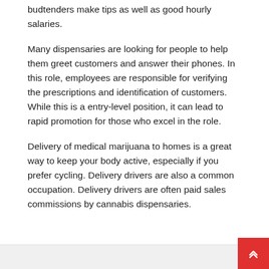budtenders make tips as well as good hourly salaries.
Many dispensaries are looking for people to help them greet customers and answer their phones. In this role, employees are responsible for verifying the prescriptions and identification of customers. While this is a entry-level position, it can lead to rapid promotion for those who excel in the role.
Delivery of medical marijuana to homes is a great way to keep your body active, especially if you prefer cycling. Delivery drivers are also a common occupation. Delivery drivers are often paid sales commissions by cannabis dispensaries.